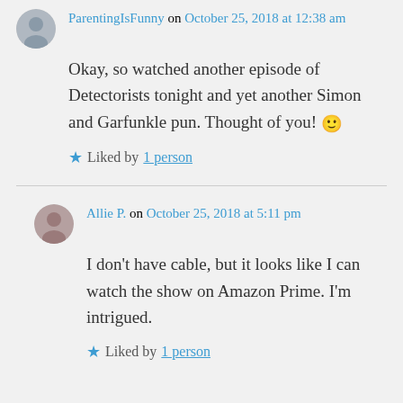ParentingIsFunny on October 25, 2018 at 12:38 am
Okay, so watched another episode of Detectorists tonight and yet another Simon and Garfunkle pun. Thought of you! 🙂
★ Liked by 1 person
Allie P. on October 25, 2018 at 5:11 pm
I don't have cable, but it looks like I can watch the show on Amazon Prime. I'm intrigued.
★ Liked by 1 person